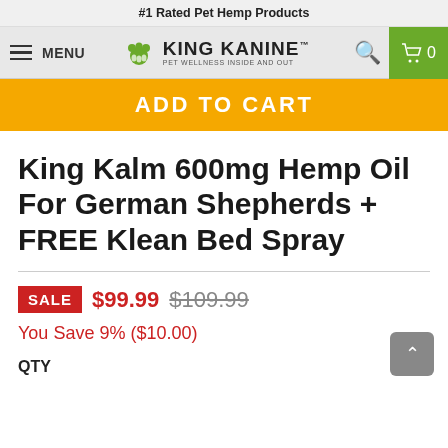#1 Rated Pet Hemp Products
[Figure (logo): King Kanine logo with green paw print and text 'PET WELLNESS INSIDE AND OUT', navigation bar with MENU, search icon, and green cart icon showing 0]
ADD TO CART
King Kalm 600mg Hemp Oil For German Shepherds + FREE Klean Bed Spray
SALE $99.99 $109.99
You Save 9% ($10.00)
QTY